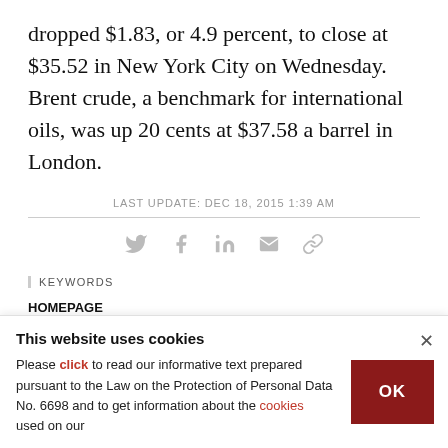dropped $1.83, or 4.9 percent, to close at $35.52 in New York City on Wednesday. Brent crude, a benchmark for international oils, was up 20 cents at $37.58 a barrel in London.
LAST UPDATE: DEC 18, 2015 1:39 AM
[Figure (infographic): Social sharing icons: Twitter, Facebook, LinkedIn, Email, Link]
KEYWORDS
HOMEPAGE
This website uses cookies
Please click to read our informative text prepared pursuant to the Law on the Protection of Personal Data No. 6698 and to get information about the cookies used on our